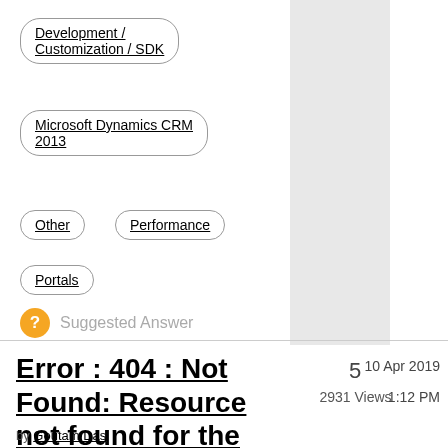Development / Customization / SDK
Microsoft Dynamics CRM 2013
Other
Performance
Portals
Suggested Answer
Error : 404 : Not Found: Resource not found for the segment
by Goutam Das
5
2931 Views
10 Apr 2019
1:12 PM